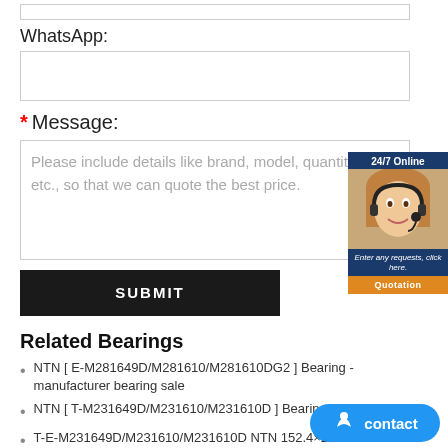WhatsApp:
Message:
Please include details like brand, model, quantity and etc., so that we can quote the best price.
SUBMIT
Related Bearings
NTN [ E-M281649D/M281610/M281610DG2 ] Bearing - manufacturer bearing sale
NTN [ T-M231649D/M231610/M231610D ] Bearing
T-E-M231649D/M231610/M231610D NTN 152.4×2...
NTN [ M285848D/M285810/M285810DG2 ] Bearing - bearing